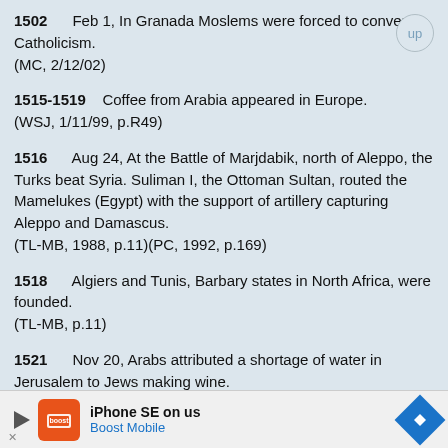1502    Feb 1, In Granada Moslems were forced to convert to Catholicism.
    (MC, 2/12/02)
1515-1519    Coffee from Arabia appeared in Europe.
    (WSJ, 1/11/99, p.R49)
1516    Aug 24, At the Battle of Marjdabik, north of Aleppo, the Turks beat Syria. Suliman I, the Ottoman Sultan, routed the Mamelukes (Egypt) with the support of artillery capturing Aleppo and Damascus.
    (TL-MB, 1988, p.11)(PC, 1992, p.169)
1518    Algiers and Tunis, Barbary states in North Africa, were founded.
    (TL-MB, p.11)
1521    Nov 20, Arabs attributed a shortage of water in Jerusalem to Jews making wine.
[Figure (other): Boost Mobile advertisement banner: iPhone SE on us, Boost Mobile logo with orange background and navigation arrow icon]